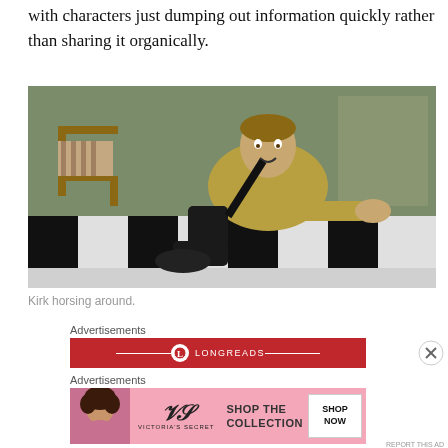with characters just dumping out information quickly rather than sharing it organically.
[Figure (photo): A man in a gold/olive colored uniform crouching on a black and white checkered floor, appearing to be from the Star Trek TV show (Captain Kirk).]
Kirk horsing around.
Advertisements
[Figure (logo): Longreads advertisement banner - red background with Longreads logo and horizontal lines on each side]
Advertisements
[Figure (screenshot): Victoria's Secret advertisement - pink background with a woman's photo on the left, Victoria's Secret logo in the center, and 'SHOP THE COLLECTION' text with a 'SHOP NOW' button on the right]